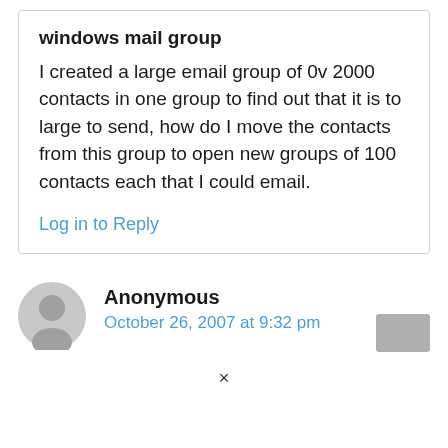windows mail group
I created a large email group of 0v 2000 contacts in one group to find out that it is to large to send, how do I move the contacts from this group to open new groups of 100 contacts each that I could email.
Log in to Reply
[Figure (illustration): Grey anonymous user avatar icon — a silhouette of a person in a grey circle]
Anonymous
October 26, 2007 at 9:32 pm